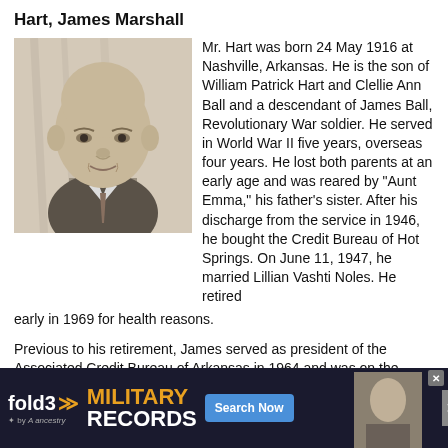Hart, James Marshall
[Figure (photo): Black and white portrait photo of James Marshall Hart, an older bald man in a suit and tie]
Mr. Hart was born 24 May 1916 at Nashville, Arkansas. He is the son of William Patrick Hart and Clellie Ann Ball and a descendant of James Ball, Revolutionary War soldier. He served in World War II five years, overseas four years. He lost both parents at an early age and was reared by "Aunt Emma," his father's sister. After his discharge from the service in 1946, he bought the Credit Bureau of Hot Springs. On June 11, 1947, he married Lillian Vashti Noles. He retired early in 1969 for health reasons.
Previous to his retirement, James served as president of the Associated Credit Bureau of Arkansas in 1964 and was on the Board of the Associated Credit Bureaus of America, Midwest District for three years and the State Board for two years. In 1960-1961, he served as president of the American Colle[ge of Credit...] Missi[ssippi...] three years... three
[Figure (screenshot): fold3 by Ancestry advertisement banner for Military Records with Search Now button and soldier photo]